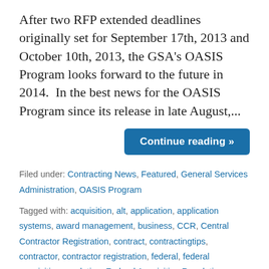After two RFP extended deadlines originally set for September 17th, 2013 and October 10th, 2013, the GSA's OASIS Program looks forward to the future in 2014.  In the best news for the OASIS Program since its release in late August,...
Continue reading »
Filed under: Contracting News, Featured, General Services Administration, OASIS Program
Tagged with: acquisition, alt, application, application systems, award management, business, CCR, Central Contractor Registration, contract, contractingtips, contractor, contractor registration, federal, federal acquisition regulation, Federal Acquisition Regulations, federal contract, federal contractor, federal contractors, federal departments, government, government...